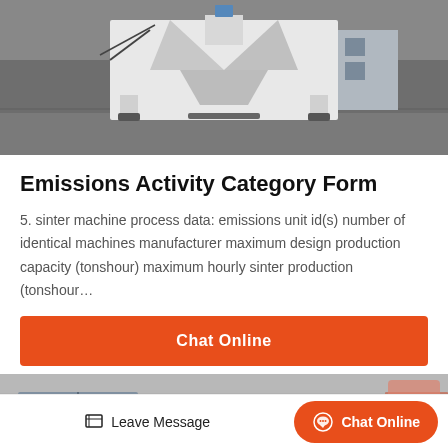[Figure (photo): Industrial sinter machine or heavy equipment, white metal frame structure on concrete ground, outdoor setting with grey wall in background]
Emissions Activity Category Form
5. sinter machine process data: emissions unit id(s) number of identical machines manufacturer maximum design production capacity (tonshour) maximum hourly sinter production (tonshour…
[Figure (other): Orange Chat Online button]
[Figure (photo): Exterior of industrial building with metal siding and windows]
[Figure (other): Footer bar with Leave Message and Chat Online buttons]